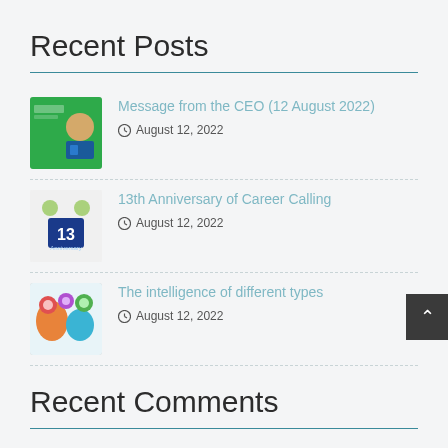Recent Posts
Message from the CEO (12 August 2022) — August 12, 2022
13th Anniversary of Career Calling — August 12, 2022
The intelligence of different types — August 12, 2022
Recent Comments
Tag Cloud